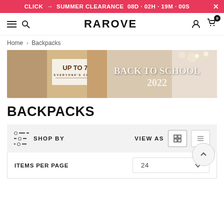CLICK → SUMMER CLEARANCE 08D · 02H · 19M · 00S
RAROVE
Home > Backpacks
[Figure (illustration): Back to school 2022 banner with 'UP TO 70%' and 'EVERYONE'S CHOICE' on the left side, and 'BACK TO SCHOOL 2022' on the right side with floral background imagery]
BACKPACKS
SHOP BY | VIEW AS — toolbar with grid and list view icons
ITEMS PER PAGE  24